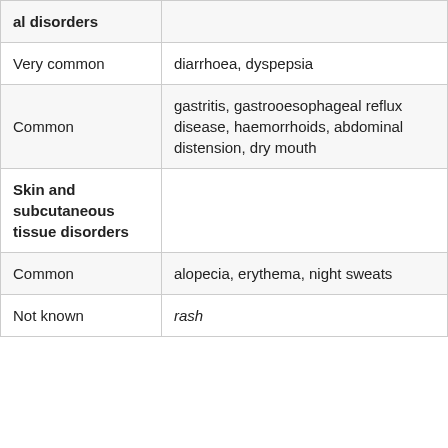| Category | Effects |
| --- | --- |
| al disorders |  |
| Very common | diarrhoea, dyspepsia |
| Common | gastritis, gastrooesophageal reflux disease, haemorrhoids, abdominal distension, dry mouth |
| Skin and subcutaneous tissue disorders |  |
| Common | alopecia, erythema, night sweats |
| Not known | rash |